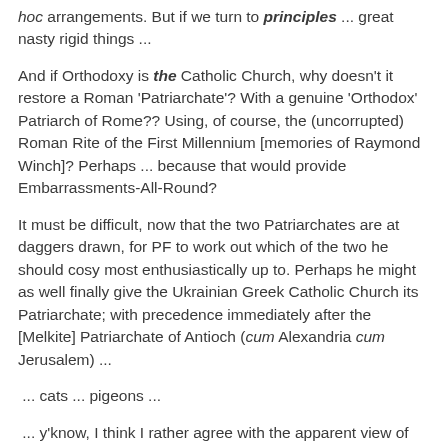hoc arrangements. But if we turn to principles ... great nasty rigid things ...
And if Orthodoxy is the Catholic Church, why doesn't it restore a Roman 'Patriarchate'? With a genuine 'Orthodox' Patriarch of Rome?? Using, of course, the (uncorrupted) Roman Rite of the First Millennium [memories of Raymond Winch]? Perhaps ... because that would provide Embarrassments-All-Round?
It must be difficult, now that the two Patriarchates are at daggers drawn, for PF to work out which of the two he should cosy most enthusiastically up to. Perhaps he might as well finally give the Ukrainian Greek Catholic Church its Patriarchate; with precedence immediately after the [Melkite] Patriarchate of Antioch (cum Alexandria cum Jerusalem) ...
... cats ... pigeons ...
... y'know, I think I rather agree with the apparent view of Benedict XVI that Patriarchates are a not unmixed blessing